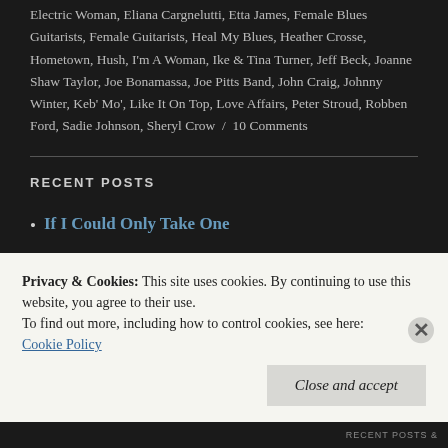Electric Woman, Eliana Cargnelutti, Etta James, Female Blues Guitarists, Female Guitarists, Heal My Blues, Heather Crosse, Hometown, Hush, I'm A Woman, Ike & Tina Turner, Jeff Beck, Joanne Shaw Taylor, Joe Bonamassa, Joe Pitts Band, John Craig, Johnny Winter, Keb' Mo', Like It On Top, Love Affairs, Peter Stroud, Robben Ford, Sadie Johnson, Sheryl Crow / 10 Comments
RECENT POSTS
If I Could Only Take One
Privacy & Cookies: This site uses cookies. By continuing to use this website, you agree to their use.
To find out more, including how to control cookies, see here: Cookie Policy
Close and accept